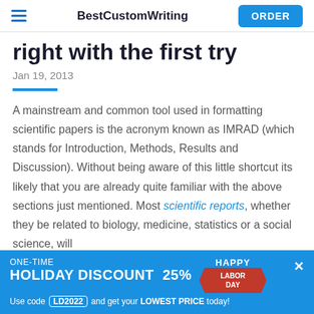BestCustomWriting | ORDER
right with the first try
Jan 19, 2013
A mainstream and common tool used in formatting scientific papers is the acronym known as IMRAD (which stands for Introduction, Methods, Results and Discussion). Without being aware of this little shortcut its likely that you are already quite familiar with the above sections just mentioned. Most scientific reports, whether they be related to biology, medicine, statistics or a social science, will
ONE-TIME HOLIDAY DISCOUNT 25% Use code LD2022 and get your LOWEST PRICE today!